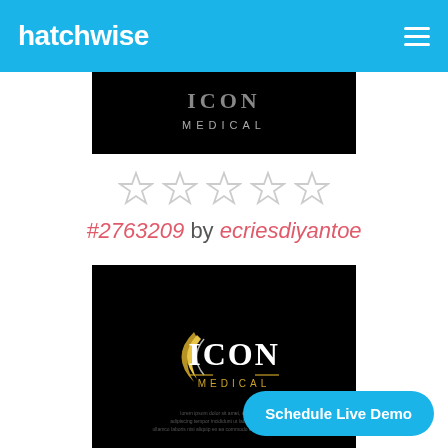hatchwise
[Figure (logo): ICON MEDICAL logo on black background (top, partially visible)]
[Figure (other): Five empty star rating icons]
#2763209 by ecriesdiyantoe
[Figure (logo): ICON MEDICAL logo with gold crescent moon on black background]
Schedule Live Demo